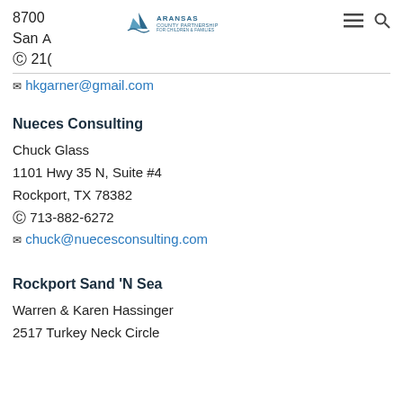8700
San A [Aransas County Partnership logo]
© 21(
✉ hkgarner@gmail.com
Nueces Consulting
Chuck Glass
1101 Hwy 35 N, Suite #4
Rockport, TX 78382
© 713-882-6272
✉ chuck@nuecesconsulting.com
Rockport Sand 'N Sea
Warren & Karen Hassinger
2517 Turkey Neck Circle